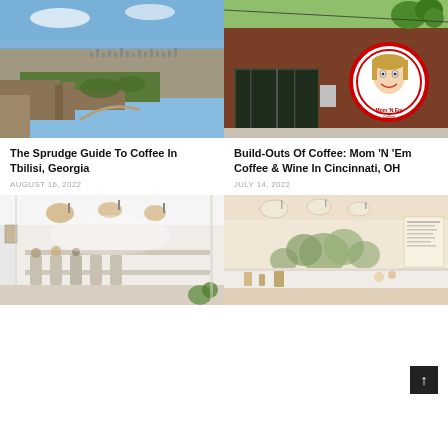[Figure (photo): Aerial view of Tbilisi, Georgia cityscape with old fortress walls and lush green valley]
[Figure (photo): Exterior of Mom 'N Em Coffee & Wine in Cincinnati, brick building with large circular logo mural on wall]
The Sprudge Guide To Coffee In Tbilisi, Georgia
Build-Outs Of Coffee: Mom 'N 'Em Coffee & Wine In Cincinnati, OH
AUGUST 16, 2022
JULY 14, 2022
[Figure (photo): Interior of a bright modern coffee shop with pendant lights and long dining area]
[Figure (photo): Interior of a coffee shop with plants and warm lighting, white counter visible]